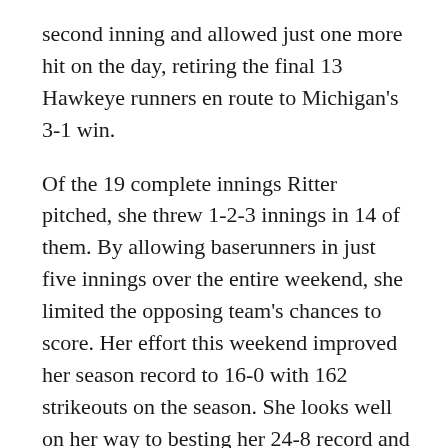second inning and allowed just one more hit on the day, retiring the final 13 Hawkeye runners en route to Michigan's 3-1 win.
Of the 19 complete innings Ritter pitched, she threw 1-2-3 innings in 14 of them. By allowing baserunners in just five innings over the entire weekend, she limited the opposing team's chances to score. Her effort this weekend improved her season record to 16-0 with 162 strikeouts on the season. She looks well on her way to besting her 24-8 record and 269 strikeouts posted last season — both career bests.